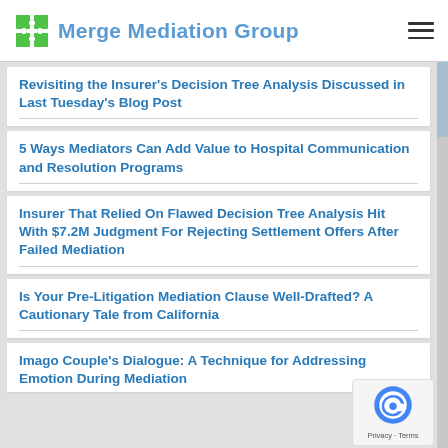Merge Mediation Group
Revisiting the Insurer's Decision Tree Analysis Discussed in Last Tuesday's Blog Post
5 Ways Mediators Can Add Value to Hospital Communication and Resolution Programs
Insurer That Relied On Flawed Decision Tree Analysis Hit With $7.2M Judgment For Rejecting Settlement Offers After Failed Mediation
Is Your Pre-Litigation Mediation Clause Well-Drafted? A Cautionary Tale from California
Imago Couple's Dialogue: A Technique for Addressing Emotion During Mediation